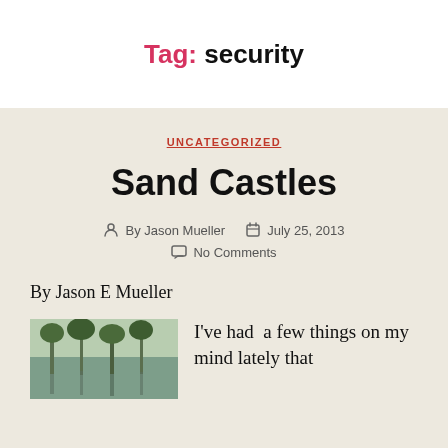Tag: security
UNCATEGORIZED
Sand Castles
By Jason Mueller   July 25, 2013   No Comments
By Jason E Mueller
[Figure (photo): Outdoor photo showing trees reflected in water]
I've had  a few things on my mind lately that